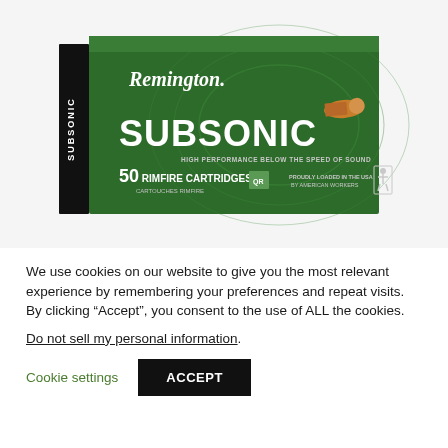[Figure (photo): Remington Subsonic 50 Rimfire Cartridges box in green with a bullet image. Text on box: Remington, SUBSONIC, HIGH PERFORMANCE BELOW THE SPEED OF SOUND, 50 RIMFIRE CARTRIDGES / CARTOUCHES RIMFIRE, PROUDLY LOADED IN THE USA BY AMERICAN WORKERS.]
We use cookies on our website to give you the most relevant experience by remembering your preferences and repeat visits. By clicking “Accept”, you consent to the use of ALL the cookies.
Do not sell my personal information.
Cookie settings
ACCEPT